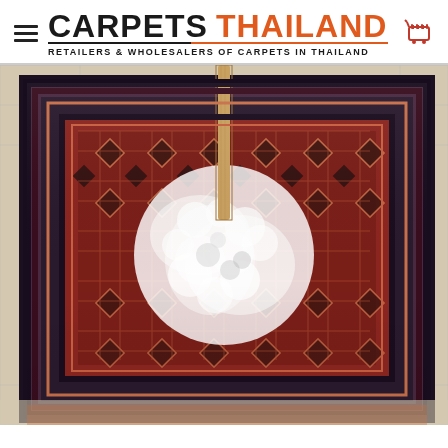CARPETS THAILAND — RETAILERS & WHOLESALERS OF CARPETS IN THAILAND
[Figure (photo): A traditional dark-toned Persian/Bokhara style carpet with geometric diamond patterns laid flat on a tiled floor, being washed or treated with white foamy cleaning solution applied from a wooden stick/brush from above. The carpet shows intricate red and dark (navy/black) symmetrical diamond and octagonal motifs with ornate borders.]